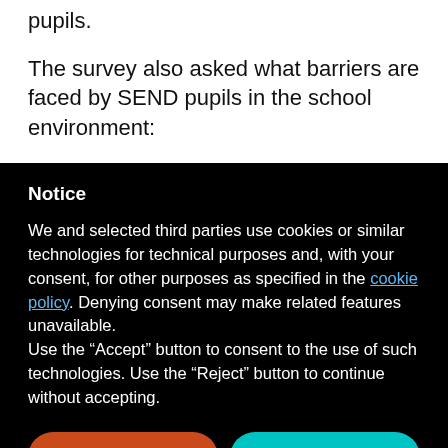pupils.
The survey also asked what barriers are faced by SEND pupils in the school environment:
Notice
We and selected third parties use cookies or similar technologies for technical purposes and, with your consent, for other purposes as specified in the cookie policy. Denying consent may make related features unavailable.
Use the "Accept" button to consent to the use of such technologies. Use the "Reject" button to continue without accepting.
Reject
Accept
Learn more and customize